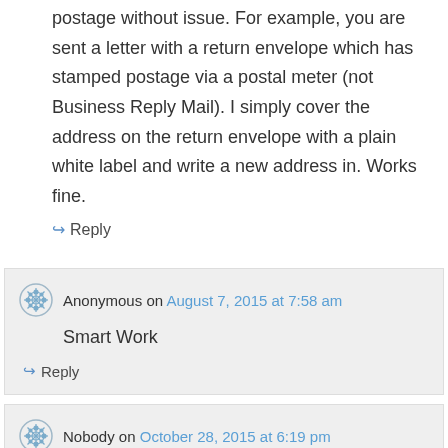postage without issue. For example, you are sent a letter with a return envelope which has stamped postage via a postal meter (not Business Reply Mail). I simply cover the address on the return envelope with a plain white label and write a new address in. Works fine.
↪ Reply
Anonymous on August 7, 2015 at 7:58 am
Smart Work
↪ Reply
Nobody on October 28, 2015 at 6:19 pm